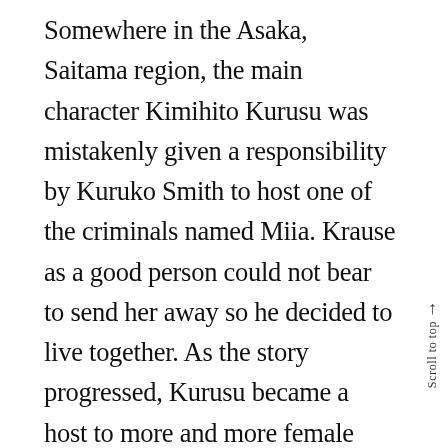Somewhere in the Asaka, Saitama region, the main character Kimihito Kurusu was mistakenly given a responsibility by Kuruko Smith to host one of the criminals named Miia. Krause as a good person could not bear to send her away so he decided to live together. As the story progressed, Kurusu became a host to more and more female creatures with different species. The other creatures met him through accident or he was forced by Smith to take them in. It is a fun and exciting story as they struggle to live in one household in harmony while Kurusu is helping them get along in human society.